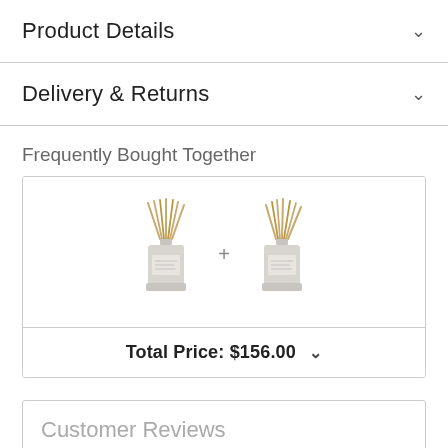Product Details
Delivery & Returns
Frequently Bought Together
[Figure (photo): Two reed diffuser products shown side by side with a plus sign between them, indicating a bundle offer.]
Total Price: $156.00
Customer Reviews